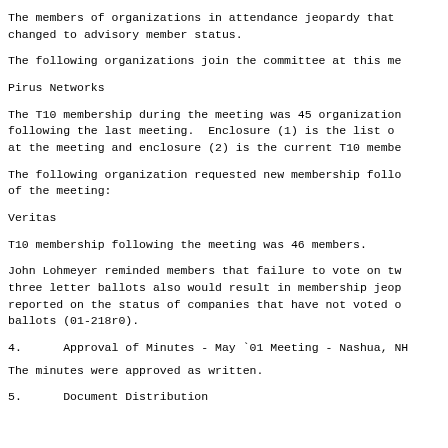The members of organizations in attendance jeopardy that changed to advisory member status.
The following organizations join the committee at this me
Pirus Networks
The T10 membership during the meeting was 45 organization following the last meeting.  Enclosure (1) is the list o at the meeting and enclosure (2) is the current T10 membe
The following organization requested new membership follo of the meeting:
Veritas
T10 membership following the meeting was 46 members.
John Lohmeyer reminded members that failure to vote on tw three letter ballots also would result in membership jeop reported on the status of companies that have not voted o ballots (01-218r0).
4.      Approval of Minutes - May `01 Meeting - Nashua, NH
The minutes were approved as written.
5.      Document Distribution